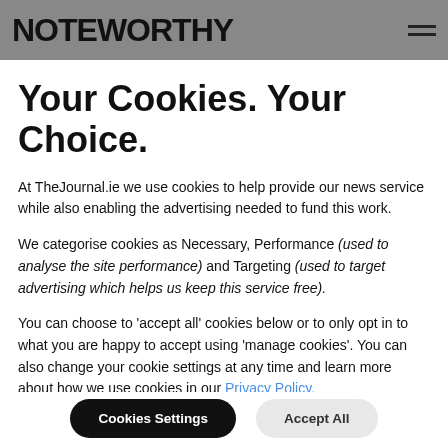NOTEWORTHY
Your Cookies. Your Choice.
At TheJournal.ie we use cookies to help provide our news service while also enabling the advertising needed to fund this work.
We categorise cookies as Necessary, Performance (used to analyse the site performance) and Targeting (used to target advertising which helps us keep this service free).
You can choose to 'accept all' cookies below or to only opt in to what you are happy to accept using 'manage cookies'. You can also change your cookie settings at any time and learn more about how we use cookies in our Privacy Policy.
Cookies Settings | Accept All